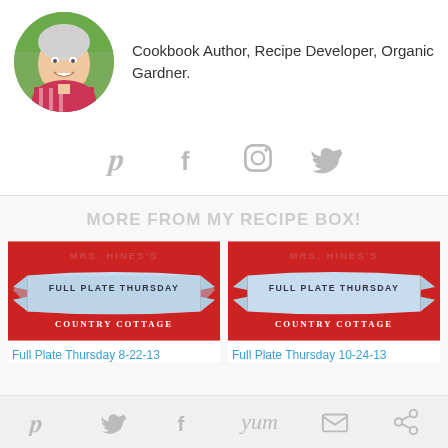[Figure (photo): Circular profile photo of a smiling woman with short gray hair]
Cookbook Author, Recipe Developer, Organic Gardner.
[Figure (infographic): Social media icons: Pinterest, Facebook, Instagram, Twitter in gray]
MORE FROM MY RECIPE BOX!
[Figure (photo): Red banner image reading Full Plate Thursday Country Cottage]
Full Plate Thursday 8-22-13
[Figure (photo): Red banner image reading Full Plate Thursday Country Cottage]
Full Plate Thursday 10-24-13
[Figure (infographic): Bottom social share icons: Pinterest, Twitter, Facebook, Yum, Email, Other]